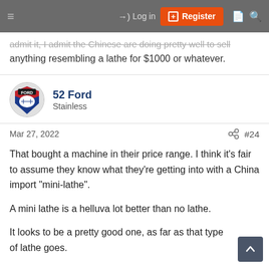Log in | Register
anything resembling a lathe for $1000 or whatever.
52 Ford
Stainless
Mar 27, 2022  #24
That bought a machine in their price range. I think it's fair to assume they know what they're getting into with a China import "mini-lathe".

A mini lathe is a helluva lot better than no lathe.

It looks to be a pretty good one, as far as that type of lathe goes.